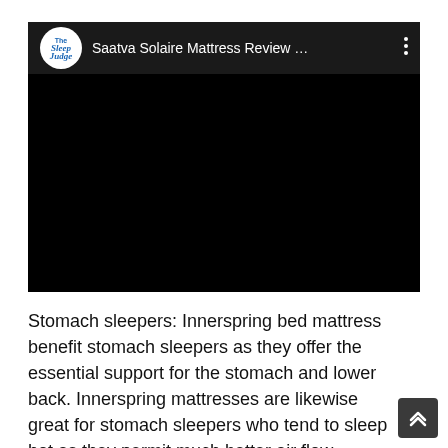[Figure (screenshot): Embedded video player with a dark header showing the Sleep Judge logo and the title 'Saatva Solaire Mattress Review ...' with a three-dot menu. The video content area is solid black.]
Stomach sleepers: Innerspring bed mattress benefit stomach sleepers as they offer the essential support for the stomach and lower back. Innerspring mattresses are likewise great for stomach sleepers who tend to sleep hot as they permit much better air flow.